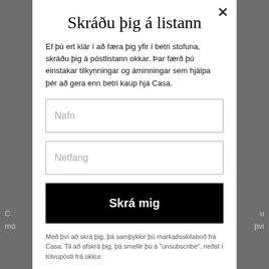Skráðu þig á listann
Ef þú ert klár í að færa þig yfir í betri stofuna, skráðu þig á póstlistann okkar. Þar færð þú einstakar tilkynningar og áminningar sem hjálpa þér að gera enn betri kaup hjá Casa.
Nafn
Netfang
Skrá mig
Með því að skrá þig, þá samþykkir þú markaðsskilaboð frá Casa. Til að afskrá þig, þá smellir þú á "unsubscribe", neðst í tölvupósti frá okkur.